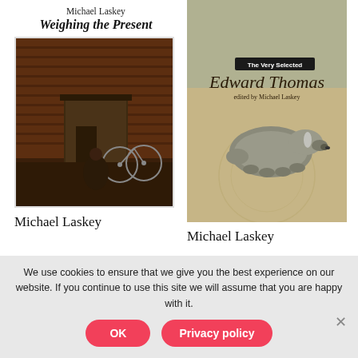Michael Laskey
Weighing the Present
[Figure (photo): Book cover of 'Weighing the Present' by Michael Laskey showing a dark painting of a person crouching near a bicycle beside a wooden shed against a brick wall]
Michael Laskey
[Figure (photo): Book cover of 'The Very Selected Edward Thomas, edited by Michael Laskey' showing a vintage illustrated badger on a textured beige/teal background with a black title band]
Michael Laskey
We use cookies to ensure that we give you the best experience on our website. If you continue to use this site we will assume that you are happy with it.
OK
Privacy policy